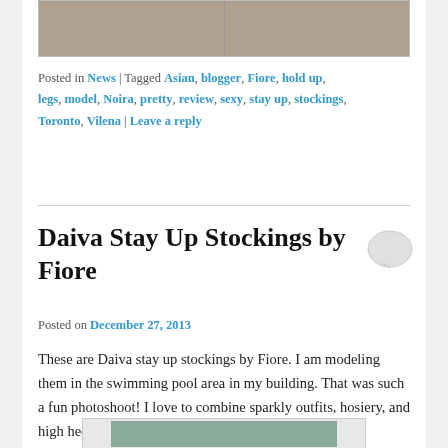[Figure (photo): Two cropped photos side by side showing legs in black high heels and stockings]
Posted in News | Tagged Asian, blogger, Fiore, hold up, legs, model, Noira, pretty, review, sexy, stay up, stockings, Toronto, Vilena | Leave a reply
Daiva Stay Up Stockings by Fiore
Posted on December 27, 2013
These are Daiva stay up stockings by Fiore.  I am modeling them in the swimming pool area in my building.  That was such a fun photoshoot!  I love to combine sparkly outfits, hosiery, and high heels.
[Figure (photo): Bottom of a photo showing a person in sparkly pink outfit near a pool]